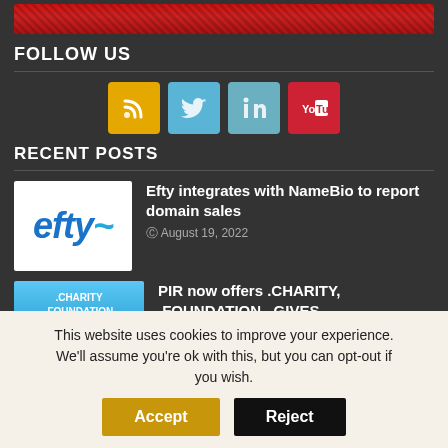[Figure (illustration): Red banner/graphic strip at the top of the page]
FOLLOW US
[Figure (infographic): Four social media icon buttons: RSS (orange/yellow), Twitter (light blue), LinkedIn (teal), YouTube (red)]
RECENT POSTS
[Figure (logo): Efty logo — blue italic text on white background]
Efty integrates with NameBio to report domain sales
August 19, 2022
[Figure (illustration): .CHARITY .FOUNDATION .GIVES .org logo on blue gradient background]
PIR now offers .CHARITY, .FOUNDATION, .GIVES
August 18, 2022
This website uses cookies to improve your experience. We'll assume you're ok with this, but you can opt-out if you wish.